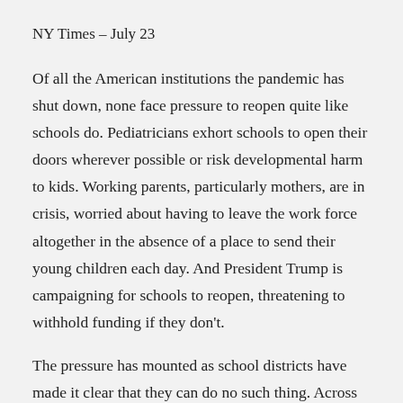NY Times – July 23
Of all the American institutions the pandemic has shut down, none face pressure to reopen quite like schools do. Pediatricians exhort schools to open their doors wherever possible or risk developmental harm to kids. Working parents, particularly mothers, are in crisis, worried about having to leave the work force altogether in the absence of a place to send their young children each day. And President Trump is campaigning for schools to reopen, threatening to withhold funding if they don't.
The pressure has mounted as school districts have made it clear that they can do no such thing. Across the country — including in Phoenix, Houston and a huge chunk of California, where coronavirus cases